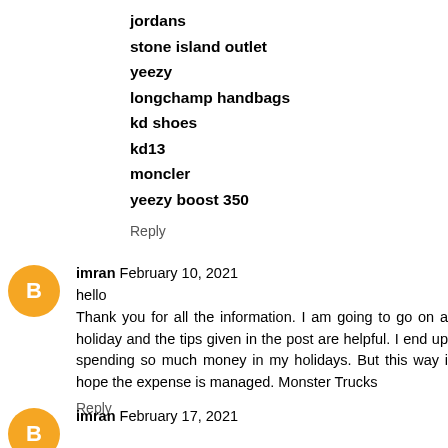jordans
stone island outlet
yeezy
longchamp handbags
kd shoes
kd13
moncler
yeezy boost 350
Reply
imran February 10, 2021
hello
Thank you for all the information. I am going to go on a holiday and the tips given in the post are helpful. I end up spending so much money in my holidays. But this way i hope the expense is managed. Monster Trucks
Reply
imran February 17, 2021